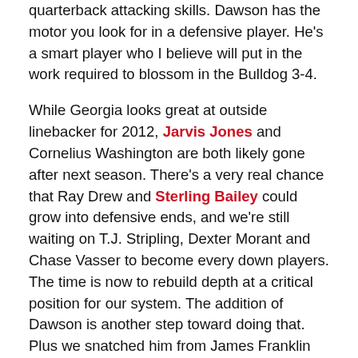quarterback attacking skills. Dawson has the motor you look for in a defensive player. He's a smart player who I believe will put in the work required to blossom in the Bulldog 3-4.

While Georgia looks great at outside linebacker for 2012, Jarvis Jones and Cornelius Washington are both likely gone after next season. There's a very real chance that Ray Drew and Sterling Bailey could grow into defensive ends, and we're still waiting on T.J. Stripling, Dexter Morant and Chase Vasser to become every down players. The time is now to rebuild depth at a critical position for our system. The addition of Dawson is another step toward doing that. Plus we snatched him from James Franklin and that makes me happy. Glad to have you, Josh!